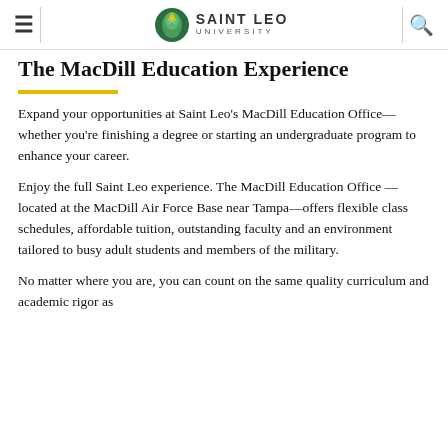Saint Leo University
The MacDill Education Experience
Expand your opportunities at Saint Leo's MacDill Education Office—whether you're finishing a degree or starting an undergraduate program to enhance your career.
Enjoy the full Saint Leo experience. The MacDill Education Office —located at the MacDill Air Force Base near Tampa—offers flexible class schedules, affordable tuition, outstanding faculty and an environment tailored to busy adult students and members of the military.
No matter where you are, you can count on the same quality curriculum and academic rigor as